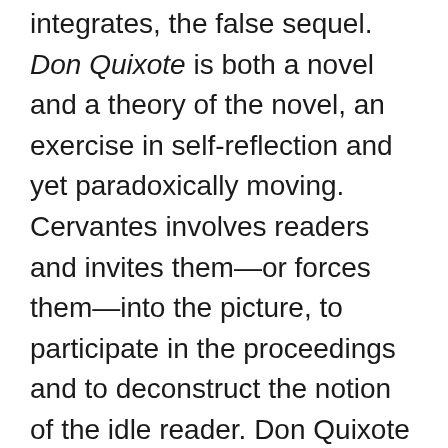integrates, the false sequel. Don Quixote is both a novel and a theory of the novel, an exercise in self-reflection and yet paradoxically moving. Cervantes involves readers and invites them—or forces them—into the picture, to participate in the proceedings and to deconstruct the notion of the idle reader. Don Quixote dies at the conclusion of Part 2, only to be revived in the future development of the literature and in virtually all media, including theatre, dance, music, film, and the visual arts. The imprint of Don Quixote is wide and profound. The novel fosters an appreciation of artistic methods and the ties between the creator and consumer of art.
The Man of La Mancha team recognizes that